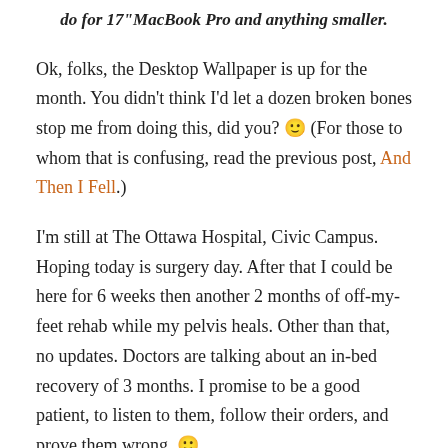do for 17"MacBook Pro and anything smaller.
Ok, folks, the Desktop Wallpaper is up for the month. You didn't think I'd let a dozen broken bones stop me from doing this, did you? 🙂 (For those to whom that is confusing, read the previous post, And Then I Fell.)
I'm still at The Ottawa Hospital, Civic Campus. Hoping today is surgery day. After that I could be here for 6 weeks then another 2 months of off-my-feet rehab while my pelvis heals. Other than that, no updates. Doctors are talking about an in-bed recovery of 3 months. I promise to be a good patient, to listen to them, follow their orders, and prove them wrong. 🙂